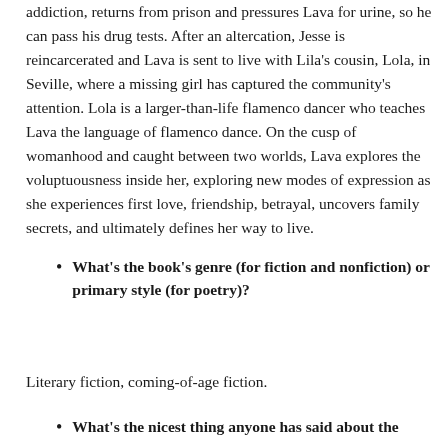addiction, returns from prison and pressures Lava for urine, so he can pass his drug tests. After an altercation, Jesse is reincarcerated and Lava is sent to live with Lila's cousin, Lola, in Seville, where a missing girl has captured the community's attention. Lola is a larger-than-life flamenco dancer who teaches Lava the language of flamenco dance. On the cusp of womanhood and caught between two worlds, Lava explores the voluptuousness inside her, exploring new modes of expression as she experiences first love, friendship, betrayal, uncovers family secrets, and ultimately defines her way to live.
What's the book's genre (for fiction and nonfiction) or primary style (for poetry)?
Literary fiction, coming-of-age fiction.
What's the nicest thing anyone has said about the